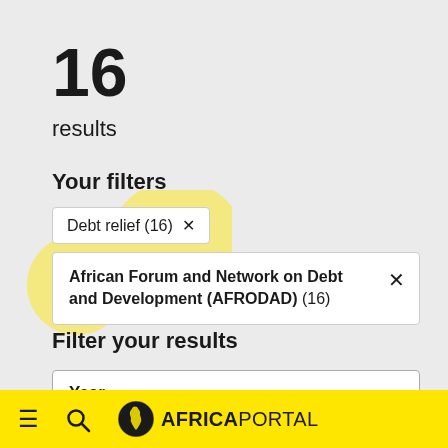16
results
Your filters
Debt relief (16) ×
African Forum and Network on Debt and Development (AFRODAD) (16) ×
Filter your results
Year
≡  🔍  AFRICAPORTAL